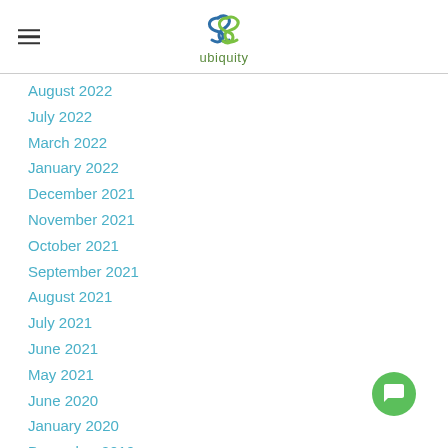ubiquity
August 2022
July 2022
March 2022
January 2022
December 2021
November 2021
October 2021
September 2021
August 2021
July 2021
June 2021
May 2021
June 2020
January 2020
December 2019
November 2019
October 2019